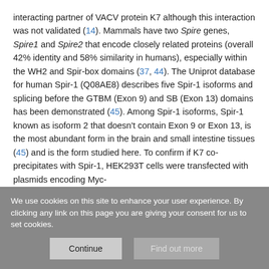interacting partner of VACV protein K7 although this interaction was not validated (14). Mammals have two Spire genes, Spire1 and Spire2 that encode closely related proteins (overall 42% identity and 58% similarity in humans), especially within the WH2 and Spir-box domains (37, 44). The Uniprot database for human Spir-1 (Q08AE8) describes five Spir-1 isoforms and splicing before the GTBM (Exon 9) and SB (Exon 13) domains has been demonstrated (45). Among Spir-1 isoforms, Spir-1 known as isoform 2 that doesn't contain Exon 9 or Exon 13, is the most abundant form in the brain and small intestine tissues (45) and is the form studied here. To confirm if K7 co-precipitates with Spir-1, HEK293T cells were transfected with plasmids encoding Myc-
We use cookies on this site to enhance your user experience. By clicking any link on this page you are giving your consent for us to set cookies.